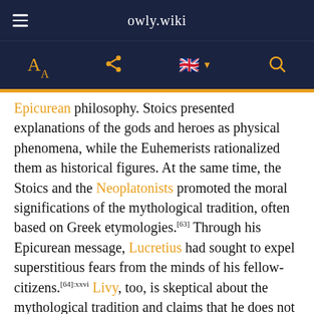owly.wiki
Epicurean philosophy. Stoics presented explanations of the gods and heroes as physical phenomena, while the Euhemerists rationalized them as historical figures. At the same time, the Stoics and the Neoplatonists promoted the moral significations of the mythological tradition, often based on Greek etymologies.[63] Through his Epicurean message, Lucretius had sought to expel superstitious fears from the minds of his fellow-citizens.[64]:xxvi Livy, too, is skeptical about the mythological tradition and claims that he does not intend to pass judgement on such legends (fabulae).[61]:88 The challenge for